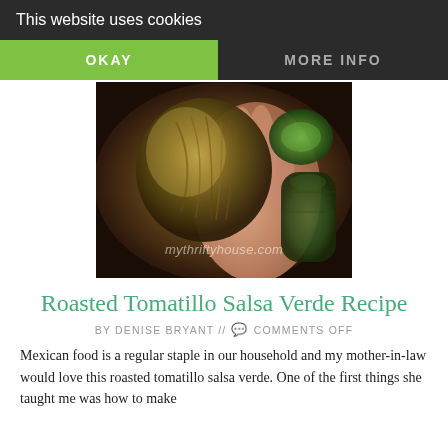This website uses cookies
OKAY
MORE INFO
[Figure (photo): Close-up photo of a hand holding a tomatillo with husk, with green tomatillos and a cucumber visible in the background. Watermark reads mythriftyhouse.com]
Roasted Tomatillo Salsa Verde Recipe
BY DENISE BRYANT // 💬 COMMENTS OFF
Mexican food is a regular staple in our household and my mother-in-law would love this roasted tomatillo salsa verde. One of the first things she taught me was how to make